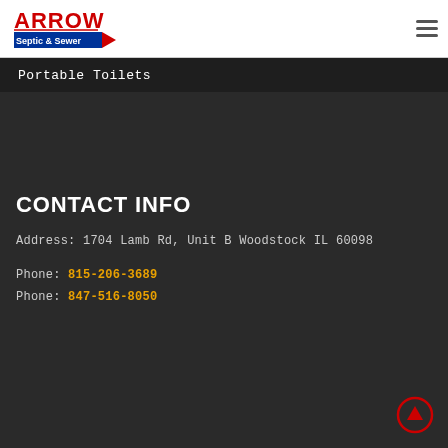[Figure (logo): Arrow Septic & Sewer logo with red arrow graphic and blue text]
Portable Toilets
CONTACT INFO
Address: 1704 Lamb Rd, Unit B Woodstock IL 60098
Phone: 815-206-3689
Phone: 847-516-8050
[Figure (other): Back to top circular button with upward arrow, red border]